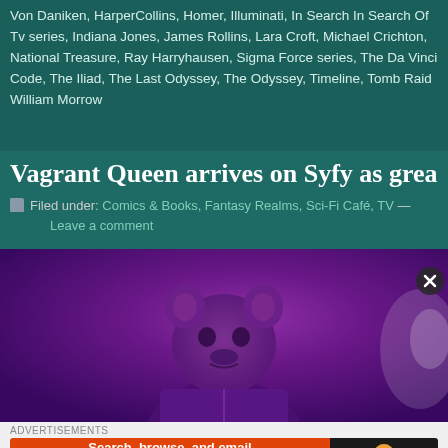Von Daniken, HarperCollins, Homer, Illuminati, In Search In Search Of Tv series, Indiana Jones, James Rollins, Lara Croft, Michael Crichton, National Treasure, Ray Harryhausen, Sigma Force series, The Da Vinci Code, The Iliad, The Last Odyssey, The Odyssey, Timeline, Tomb Raid William Morrow
Vagrant Queen arrives on Syfy as great sp
Filed under: Comics & Books, Fantasy Realms, Sci-Fi Café, TV — Leave a comment
[Figure (photo): A creature/character in a bear-like mask or costume with armor, under purple/violet lighting on a TV show set]
[Figure (screenshot): DuckDuckGo advertisement banner: 'Search, browse, and email with more privacy. All in One Free App' with DuckDuckGo duck logo on dark background]